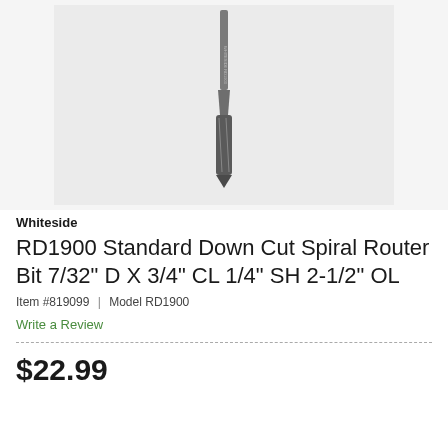[Figure (photo): Product photo of a Whiteside RD1900 Standard Down Cut Spiral Router Bit on a light gray background. The router bit is shown vertically, with a slim cylindrical shank and fluted cutting end, made of dark metallic material with engraved markings on the shank.]
Whiteside
RD1900 Standard Down Cut Spiral Router Bit 7/32" D X 3/4" CL 1/4" SH 2-1/2" OL
Item #819099 | Model RD1900
Write a Review
$22.99